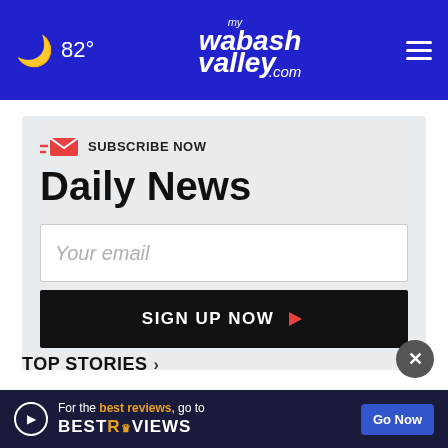82° mywabashvalley.com
SUBSCRIBE NOW
Daily News
Your email
SIGN UP NOW
TOP STORIES ›
[Figure (screenshot): Advertisement banner: For the best reviews, go to BESTREVIEWS with Go Now button]
For the best reviews, go to BESTREVIEWS Go Now